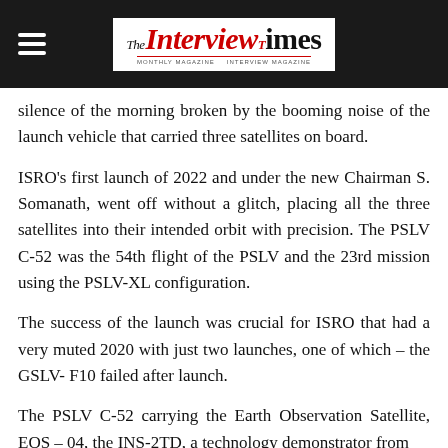The Interview Times
silence of the morning broken by the booming noise of the launch vehicle that carried three satellites on board.
ISRO's first launch of 2022 and under the new Chairman S. Somanath, went off without a glitch, placing all the three satellites into their intended orbit with precision. The PSLV C-52 was the 54th flight of the PSLV and the 23rd mission using the PSLV-XL configuration.
The success of the launch was crucial for ISRO that had a very muted 2020 with just two launches, one of which – the GSLV- F10 failed after launch.
The PSLV C-52 carrying the Earth Observation Satellite, EOS – 04, the INS-2TD, a technology demonstrator from